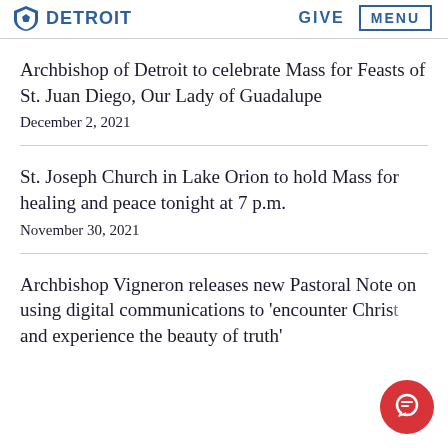DETROIT | GIVE | MENU
Archbishop of Detroit to celebrate Mass for Feasts of St. Juan Diego, Our Lady of Guadalupe
December 2, 2021
St. Joseph Church in Lake Orion to hold Mass for healing and peace tonight at 7 p.m.
November 30, 2021
Archbishop Vigneron releases new Pastoral Note on using digital communications to 'encounter Christ' and experience the beauty of truth'